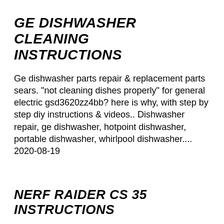GE DISHWASHER CLEANING INSTRUCTIONS
Ge dishwasher parts repair & replacement parts sears. "not cleaning dishes properly" for general electric gsd3620zz4bb? here is why, with step by step diy instructions & videos.. Dishwasher repair, ge dishwasher, hotpoint dishwasher, portable dishwasher, whirlpool dishwasher....
2020-08-19
NERF RAIDER CS 35 INSTRUCTIONS
Toy/ game hasbro nerf n-strike raider rapid fire cs 35. 2009-09-02в в· introducing the nerf raider cs-35! this is the latest blaster to be added to the nerf n-strike range, it follows the design principles of the nerf longshot. Find great deals on ebay for nerf raider longshot cs-6 blaster.